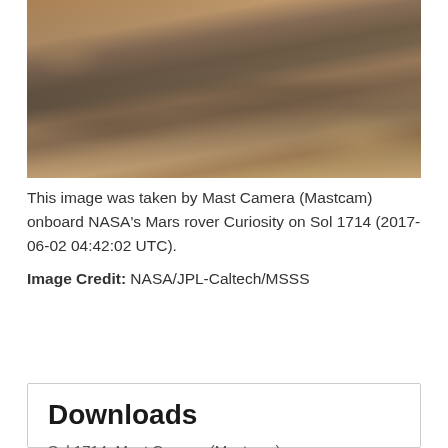[Figure (photo): Photograph of Mars surface taken by Mast Camera (Mastcam) onboard NASA's Mars rover Curiosity on Sol 1714. Shows rocky Martian terrain with layered rock formations and sandy surface.]
This image was taken by Mast Camera (Mastcam) onboard NASA's Mars rover Curiosity on Sol 1714 (2017-06-02 04:42:02 UTC).
Image Credit: NASA/JPL-Caltech/MSSS
ENLARGE
Downloads
Sol 1714: Mast Camera (Mastcam)